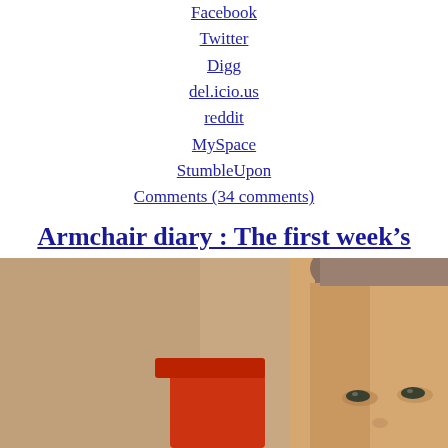Facebook
Twitter
Digg
del.icio.us
reddit
MySpace
StumbleUpon
Comments (34 comments)
Armchair diary : The first week’s ramblings of an exhausted fan
[Figure (photo): Close-up photo of a man’s face looking slightly downward, with short hair, near a red object and a tan/beige wall background.]